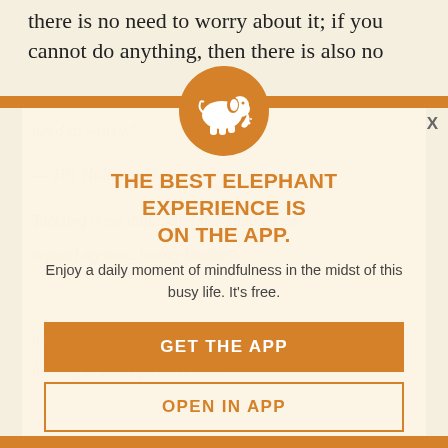there is no need to worry about it; if you cannot do anything, then there is also no need to worry.
[Figure (infographic): App promotion modal overlay with elephant logo on orange circle, orange top bar, close X button, headline, subtext, and two buttons]
THE BEST ELEPHANT EXPERIENCE IS ON THE APP.
Enjoy a daily moment of mindfulness in the midst of this busy life. It's free.
GET THE APP
OPEN IN APP